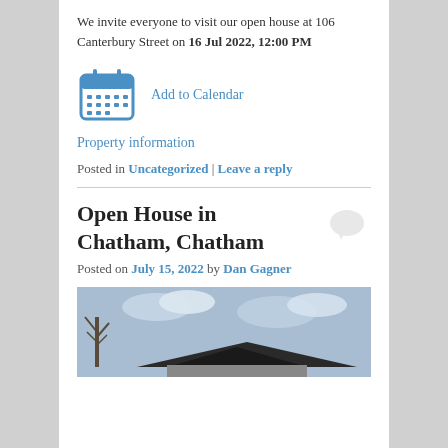We invite everyone to visit our open house at 106 Canterbury Street on 16 Jul 2022, 12:00 PM
[Figure (illustration): Blue calendar icon with grid of days]
Add to Calendar
Property information
Posted in Uncategorized | Leave a reply
Open House in Chatham, Chatham
Posted on July 15, 2022 by Dan Gagner
[Figure (photo): Exterior photo of a house with blue sky and bare tree in background]